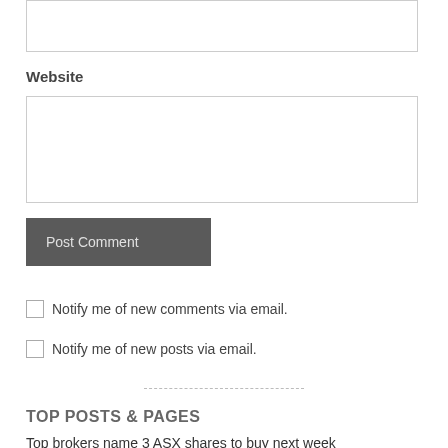Website
Post Comment
Notify me of new comments via email.
Notify me of new posts via email.
TOP POSTS & PAGES
Top brokers name 3 ASX shares to buy next week